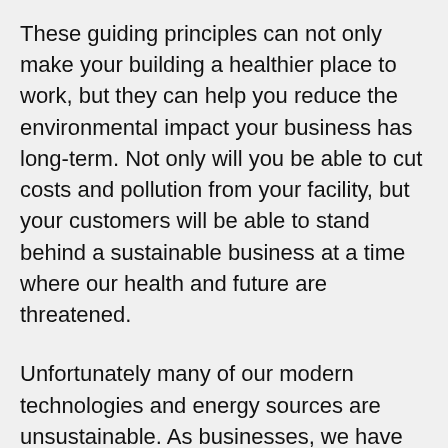These guiding principles can not only make your building a healthier place to work, but they can help you reduce the environmental impact your business has long-term. Not only will you be able to cut costs and pollution from your facility, but your customers will be able to stand behind a sustainable business at a time where our health and future are threatened.
Unfortunately many of our modern technologies and energy sources are unsustainable. As businesses, we have the power to change that. Here’s what you can do:
Pollution prevention – Commercial facilities often use